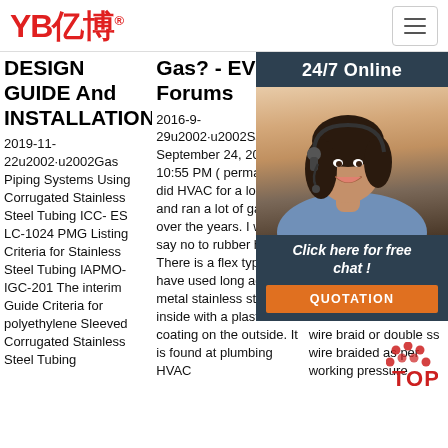[Figure (logo): YB亿博 logo in red with registered trademark symbol]
DESIGN GUIDE And INSTALLATION
Gas? - EVGA Forums
... - HIC Hy...
2019-11-22u2002·u2002Gas Piping Systems Using Corrugated Stainless Steel Tubing ICC- ES LC-1024 PMG Listing Criteria for Stainless Steel Tubing IAPMO-IGC-201 The interim Guide Criteria for polyethylene Sleeved Corrugated Stainless Steel Tubing...
2016-9-29u2002·u2002Saturday, September 24, 2016 10:55 PM ( permalink ) I did HVAC for a long time and ran a lot of gas pipe over the years. I would say no to rubber hose. There is a flex type line I have used long ago. It is metal stainless steel inside with a plastic like coating on the outside. It is found at plumbing HVAC...
Sta... met hos 1/4' 12'( len hos elo whe applied. Thus, external SS wire braiding is recommended either 1 wire braid or double ss wire braided as per working pressure...
[Figure (photo): Customer service representative woman with headset, smiling, with 24/7 Online banner and chat overlay panel including QUOTATION button]